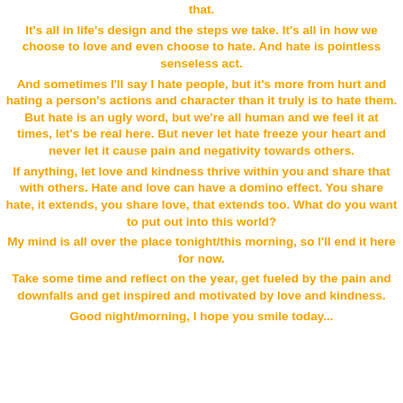that.
It's all in life's design and the steps we take. It's all in how we choose to love and even choose to hate. And hate is pointless senseless act.
And sometimes I'll say I hate people, but it's more from hurt and hating a person's actions and character than it truly is to hate them. But hate is an ugly word, but we're all human and we feel it at times, let's be real here. But never let hate freeze your heart and never let it cause pain and negativity towards others.
If anything, let love and kindness thrive within you and share that with others. Hate and love can have a domino effect. You share hate, it extends, you share love, that extends too. What do you want to put out into this world?
My mind is all over the place tonight/this morning, so I'll end it here for now.
Take some time and reflect on the year, get fueled by the pain and downfalls and get inspired and motivated by love and kindness.
Good night/morning, I hope you smile today...